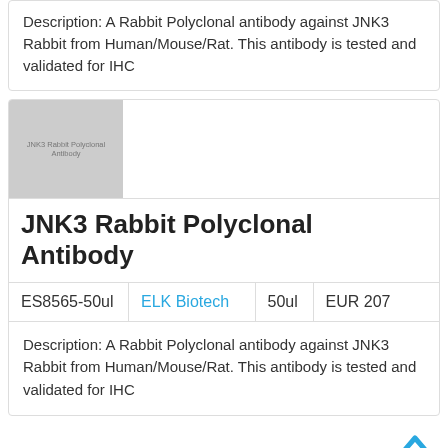Description: A Rabbit Polyclonal antibody against JNK3 Rabbit from Human/Mouse/Rat. This antibody is tested and validated for IHC
[Figure (photo): Product thumbnail image placeholder for JNK3 Rabbit Polyclonal Antibody, grey rectangle with text label]
JNK3 Rabbit Polyclonal Antibody
| ES8565-50ul | ELK Biotech | 50ul | EUR 207 |
| --- | --- | --- | --- |
Description: A Rabbit Polyclonal antibody against JNK3 Rabbit from Human/Mouse/Rat. This antibody is tested and validated for IHC
[Figure (other): Scroll-to-top arrow button (chevron up icon)]
[Figure (photo): Partial product thumbnail image at bottom of page, grey rectangle placeholder]